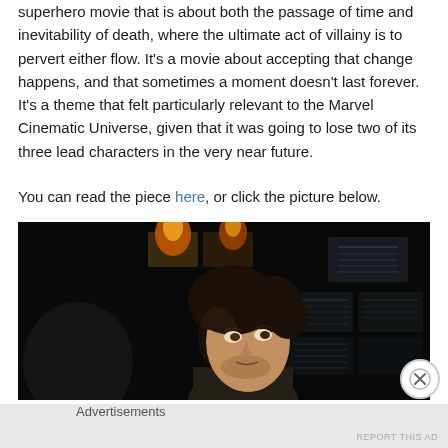superhero movie that is about both the passage of time and inevitability of death, where the ultimate act of villainy is to pervert either flow. It's a movie about accepting that change happens, and that sometimes a moment doesn't last forever. It's a theme that felt particularly relevant to the Marvel Cinematic Universe, given that it was going to lose two of its three lead characters in the very near future.
You can read the piece here, or click the picture below.
[Figure (photo): Dark movie still showing a man with curly dark hair in dim industrial lighting with glowing screens/displays behind him]
Advertisements